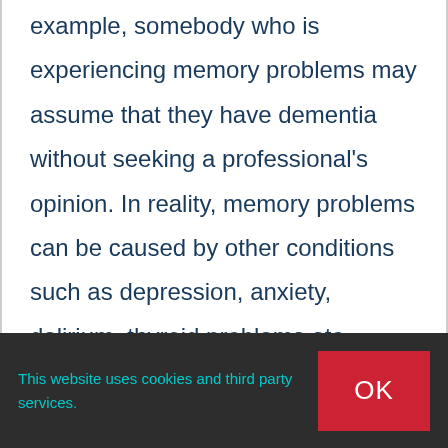example, somebody who is experiencing memory problems may assume that they have dementia without seeking a professional's opinion. In reality, memory problems can be caused by other conditions such as depression, anxiety, delirium, thyroid problems etc. Therefore, it is best to consult a GP in order to avoid lost time and negative future circumstances.
This website uses cookies and third party services.
OK